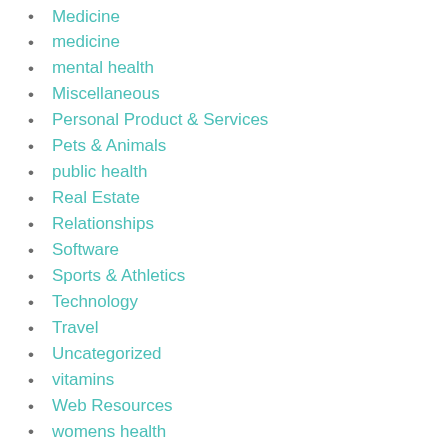Medicine
medicine
mental health
Miscellaneous
Personal Product & Services
Pets & Animals
public health
Real Estate
Relationships
Software
Sports & Athletics
Technology
Travel
Uncategorized
vitamins
Web Resources
womens health